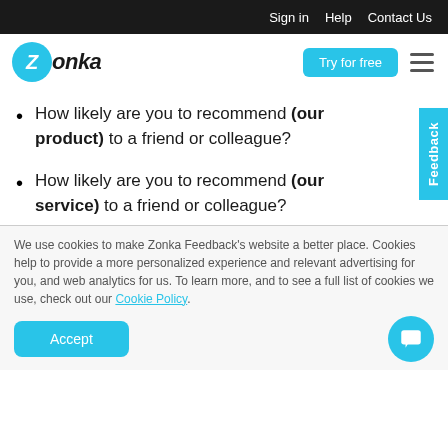Sign in  Help  Contact Us
[Figure (logo): Zonka logo with cyan circle containing Z and bold italic text 'onka']
How likely are you to recommend (our product) to a friend or colleague?
How likely are you to recommend (our service) to a friend or colleague?
We use cookies to make Zonka Feedback's website a better place. Cookies help to provide a more personalized experience and relevant advertising for you, and web analytics for us. To learn more, and to see a full list of cookies we use, check out our Cookie Policy.